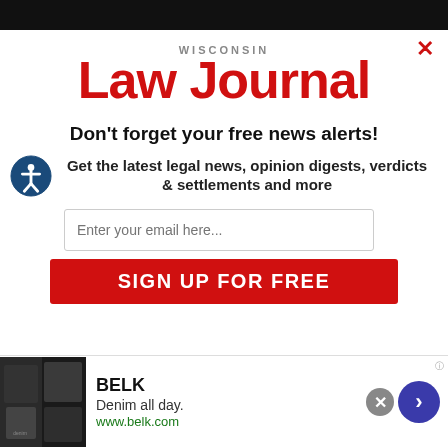[Figure (logo): Wisconsin Law Journal logo with red bold text]
Don't forget your free news alerts!
Get the latest legal news, opinion digests, verdicts & settlements and more
[Figure (screenshot): Email input field with placeholder 'Enter your email here...' and red SIGN UP FOR FREE button]
[Figure (photo): Belk advertisement banner showing denim clothing with brand name BELK, tagline 'Denim all day.' and URL www.belk.com]